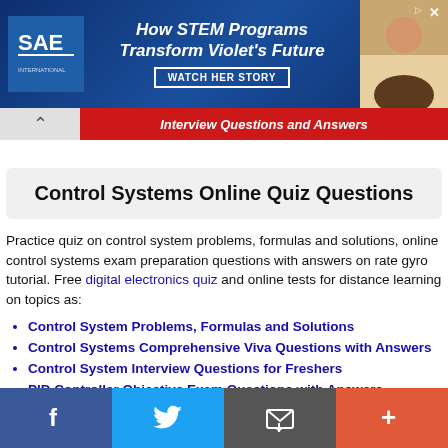[Figure (screenshot): SAE International advertisement banner: 'How STEM Programs Transform Violet's Future - WATCH HER STORY' with blue background and photo]
Interview Questions and Answers
Control Systems Online Quiz Questions
Practice quiz on control system problems, formulas and solutions, online control systems exam preparation questions with answers on rate gyro tutorial. Free digital electronics quiz and online tests for distance learning on topics as:
Control System Problems, Formulas and Solutions
Control Systems Comprehensive Viva Questions with Answers
Control System Interview Questions for Freshers
PID Controller Objective Exam Questions with Answers
Interview Questions for Electrical Controls Engineer
[Figure (infographic): Social media sharing footer with Facebook, Twitter, Email, and Add buttons]